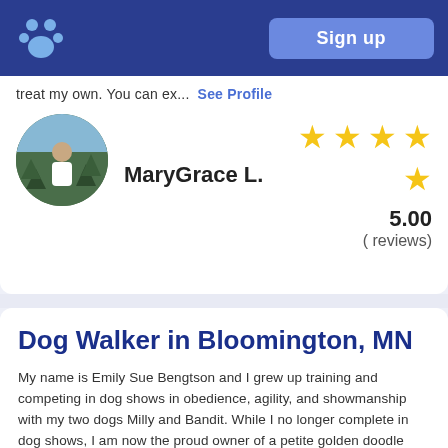Sign up
treat my own. You can ex... See Profile
MaryGrace L.
5.00
( reviews)
Dog Walker in Bloomington, MN
My name is Emily Sue Bengtson and I grew up training and competing in dog shows in obedience, agility, and showmanship with my two dogs Milly and Bandit. While I no longer complete in dog shows, I am now the proud owner of a petite golden doodle named Poppy. I can travel anywhere in the Twin Cities area to do walks and I